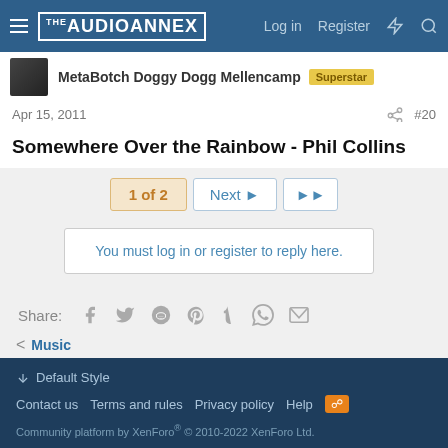THE AUDIO ANNEX — Log in  Register
MetaBotch Doggy Dogg Mellencamp  Superstar
Apr 15, 2011  #20
Somewhere Over the Rainbow - Phil Collins
1 of 2  Next  ▶▶
You must log in or register to reply here.
Share:
< Music
Default Style  Contact us  Terms and rules  Privacy policy  Help  Community platform by XenForo® © 2010-2022 XenForo Ltd.